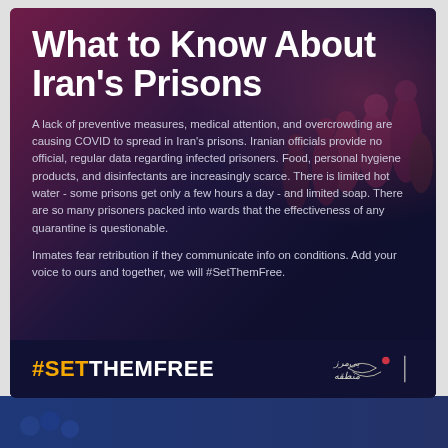[Figure (infographic): Dark infographic card with semi-transparent crowd background. Contains title 'What to Know About Iran's Prisons', body text about COVID conditions in Iranian prisons, a #SETTHEMFREE hashtag footer, and a logo.]
What to Know About Iran's Prisons
A lack of preventive measures, medical attention, and overcrowding are causing COVID to spread in Iran's prisons. Iranian officials provide no official, regular data regarding infected prisoners. Food, personal hygiene products, and disinfectants are increasingly scarce. There is limited hot water - some prisons get only a few hours a day - and limited soap. There are so many prisoners packed into wards that the effectiveness of any quarantine is questionable.
Inmates fear retribution if they communicate info on conditions. Add your voice to ours and together, we will #SetThemFree.
#SETTHEMFREE